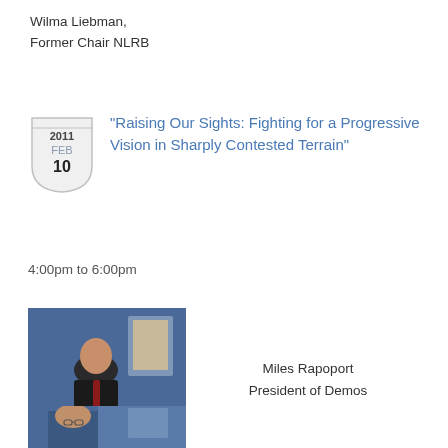Wilma Liebman,
Former Chair NLRB
"Raising Our Sights: Fighting for a Progressive Vision in Sharply Contested Terrain"
4:00pm to 6:00pm
[Figure (photo): Man in suit standing at a podium with a blue background and artwork on wall behind him]
Miles Rapoport
President of Demos
[Figure (photo): Partial view of another person at a similar setting]